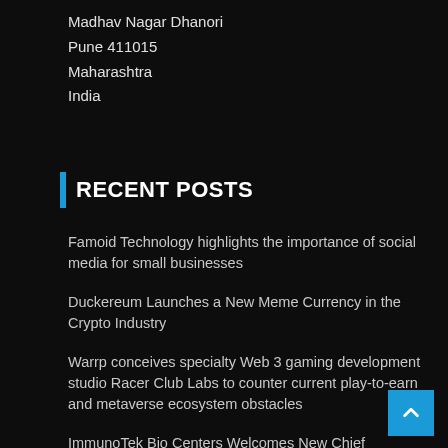Madhav Nagar Dhanori
Pune 411015
Maharashtra
India
RECENT POSTS
Famoid Technology highlights the importance of social media for small businesses
Duckereum Launches a New Meme Currency in the Crypto Industry
Warrp conceives specialty Web 3 gaming development studio Racer Club Labs to counter current play-to-earn and metaverse ecosystem obstacles
ImmunoTek Bio Centers Welcomes New Chief Innovation Officer
About the Chicago FPC: Why is it important?